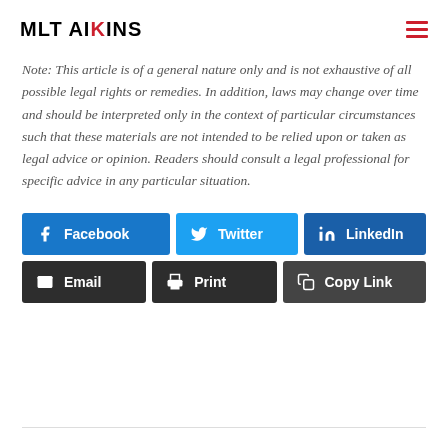MLT AIKINS
Note: This article is of a general nature only and is not exhaustive of all possible legal rights or remedies. In addition, laws may change over time and should be interpreted only in the context of particular circumstances such that these materials are not intended to be relied upon or taken as legal advice or opinion. Readers should consult a legal professional for specific advice in any particular situation.
[Figure (other): Social media sharing buttons: Facebook, Twitter, LinkedIn, Email, Print, Copy Link]